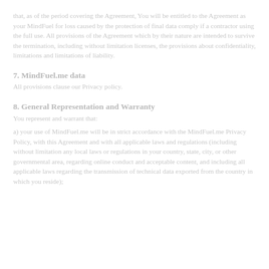that, as of the period covering the Agreement, You will be entitled to the Agreement as your MindFuel for loss caused by the protection of final data comply if a contractor using the full use. All provisions of the Agreement which by their nature are intended to survive the termination, including without limitation licenses, the provisions about confidentiality, limitations and limitations of liability.
7. MindFuel.me data
All provisions clause our Privacy policy.
8. General Representation and Warranty
You represent and warrant that:
a) your use of MindFuel.me will be in strict accordance with the MindFuel.me Privacy Policy, with this Agreement and with all applicable laws and regulations (including without limitation any local laws or regulations in your country, state, city, or other governmental area, regarding online conduct and acceptable content, and including all applicable laws regarding the transmission of technical data exported from the country in which you reside);